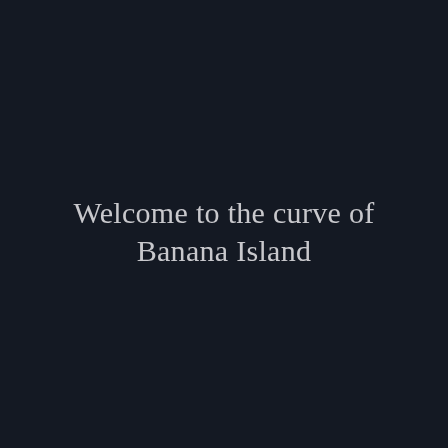Welcome to the curve of Banana Island